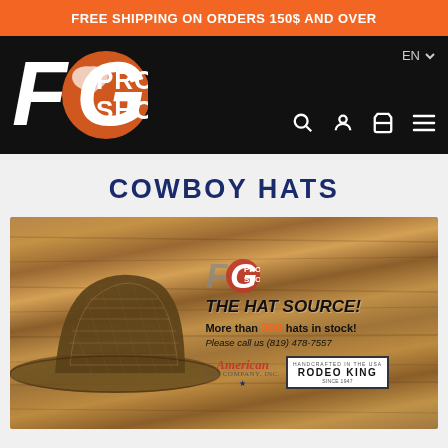FREE SHIPPING ON ORDERS 150$ AND OVER
[Figure (logo): FG Pro Shop logo on black background with navigation icons (search, account, cart, menu) and EN language selector]
COWBOY HATS
[Figure (illustration): FG Pro Shop banner showing a woven cowboy hat on a wood background with text: THE HAT SOURCE! More than 300 hats in stock! Please call us (819) 478-7557. American Hat Company, Inc. and Rodeo King logos.]